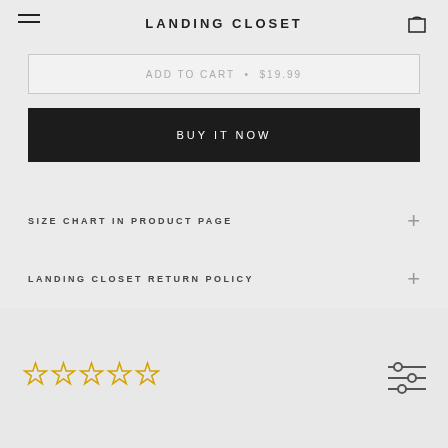LANDING CLOSET
ADD TO CART • $19.99
BUY IT NOW
SIZE CHART IN PRODUCT PAGE
LANDING CLOSET RETURN POLICY
[Figure (other): Five empty star rating icons in yellow outline style, and a filter/sliders icon on the right]